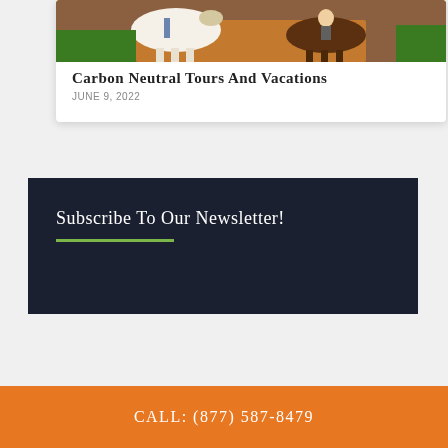[Figure (photo): Horse riding photo showing horses on a dirt path with reddish-brown soil and green vegetation]
Carbon Neutral Tours And Vacations
JUNE 9, 2022
Subscribe To Our Newsletter!
CALL: (877) 587-8479